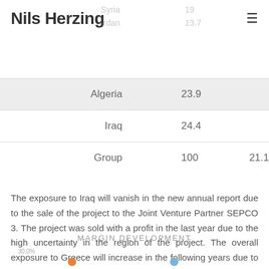Nils Herzing
| Country | Value1 | Value2 |
| --- | --- | --- |
| Syria | 19 |  |
| Jordan | 13.7 |  |
| Algeria | 23.9 |  |
| Iraq | 24.4 |  |
| Group | 100 | 21.1 |
The exposure to Iraq will vanish in the new annual report due to the sale of the project to the Joint Venture Partner SEPCO 3. The project was sold with a profit in the last year due to the high uncertainty in the region of the project. The overall exposure to Greece will increase in the following years due to the secured railways project (EUR 220m.). You can se the development of the margins below.
MARGIN DEVELOPMENT
[Figure (line-chart): Margin development chart partially visible at bottom of page, showing percentage values around 30% with orange and blue data series]